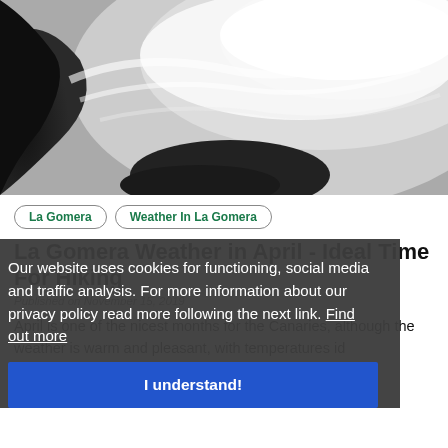[Figure (photo): Black and white photo of ocean waves crashing against dark rocks with white sea foam and spray]
La Gomera
Weather In La Gomera
La Gomera Weather in April - Ideal Time For Hiking
Published on November 15, 2019
Our website uses cookies for functioning, social media and traffic analysis. For more information about our privacy policy read more following the next link. Find out more
I understand!
April is one of the nicest months for the Canaries, although the weather is warm and pleasant, with temperatures id... mountains and the coast.